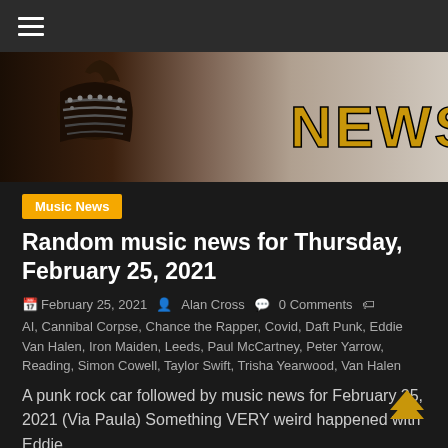☰ (hamburger menu)
[Figure (photo): Banner image with a rock musician wearing studded leather vest on the left, and bold text NEWS in gold/brown on the right against a light background]
Music News
Random music news for Thursday, February 25, 2021
February 25, 2021  Alan Cross  0 Comments  AI, Cannibal Corpse, Chance the Rapper, Covid, Daft Punk, Eddie Van Halen, Iron Maiden, Leeds, Paul McCartney, Peter Yarrow, Reading, Simon Cowell, Taylor Swift, Trisha Yearwood, Van Halen
A punk rock car followed by music news for February 25, 2021 (Via Paula) Something VERY weird happened with Eddie…